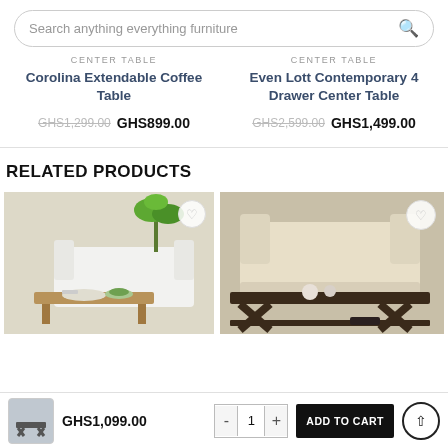Search anything everything furniture
CENTER TABLE
Corolina Extendable Coffee Table
GHS1,299.00  GHS899.00
CENTER TABLE
Even Lott Contemporary 4 Drawer Center Table
GHS2,599.00  GHS1,499.00
RELATED PRODUCTS
[Figure (photo): Center table with wood surface and plant decoration on white sofa background]
[Figure (photo): Dark brown X-leg center table with items on top, beige sofa background]
GHS1,099.00
1
ADD TO CART